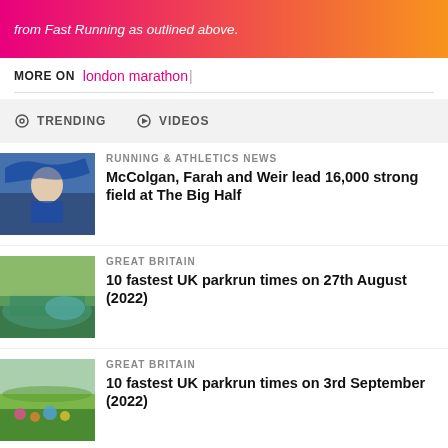from Fast Running as outlined above.
MORE ON  london marathon |
TRENDING   VIDEOS
[Figure (photo): Athlete holding Scottish flag, celebrating]
RUNNING & ATHLETICS NEWS
McColgan, Farah and Weir lead 16,000 strong field at The Big Half
[Figure (photo): Park with lake and trees, parkrun setting]
GREAT BRITAIN
10 fastest UK parkrun times on 27th August (2022)
[Figure (photo): Runners at parkrun event on grass]
GREAT BRITAIN
10 fastest UK parkrun times on 3rd September (2022)